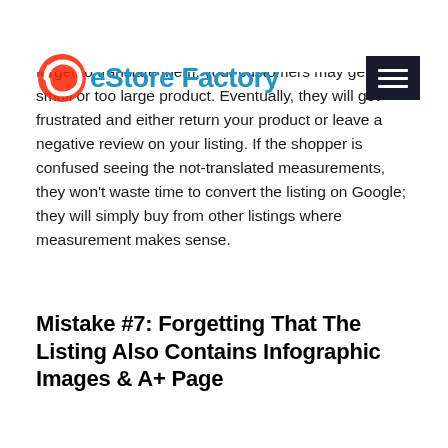sales. A shopper's idea of the size of the product depends on what measurement for your country. If you forget to translate them, your customers may get too small or too large product. Eventually, they will get frustrated and either return your product or leave a negative review on your listing. If the shopper is confused seeing the not-translated measurements, they won't waste time to convert the listing on Google; they will simply buy from other listings where measurement makes sense.
eStore Factory
Mistake #7: Forgetting That The Listing Also Contains Infographic Images & A+ Page